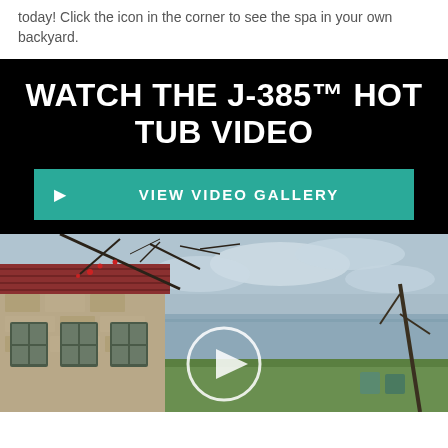today! Click the icon in the corner to see the spa in your own backyard.
WATCH THE J-385™ HOT TUB VIDEO
VIEW VIDEO GALLERY
[Figure (photo): Outdoor scene showing a stone building with a metal roof, bare tree branches overhead, a waterfront view with cloudy sky, green lawn, and Adirondack chairs. A play button circle overlay is visible in the center.]